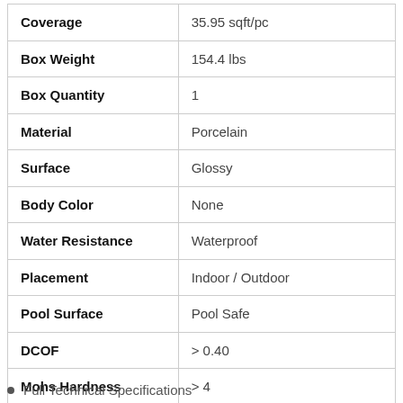| Property | Value |
| --- | --- |
| Coverage | 35.95 sqft/pc |
| Box Weight | 154.4 lbs |
| Box Quantity | 1 |
| Material | Porcelain |
| Surface | Glossy |
| Body Color | None |
| Water Resistance | Waterproof |
| Placement | Indoor / Outdoor |
| Pool Surface | Pool Safe |
| DCOF | > 0.40 |
| Mohs Hardness | > 4 |
Full Technical Specifications